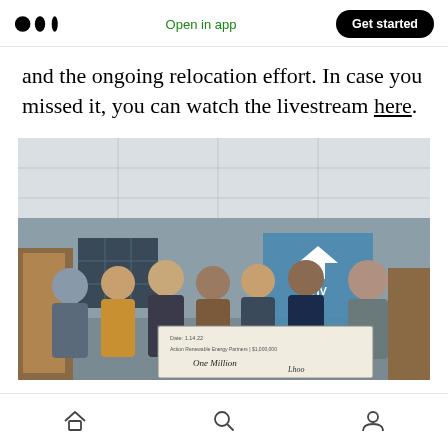Medium logo | Open in app | Get started
and the ongoing relocation effort. In case you missed it, you can watch the livestream here.
[Figure (photo): Group of seven people standing together holding a large ceremonial check made out for One Million dollars, in front of a Vivint Solar banner in an office setting.]
Home | Search | Profile